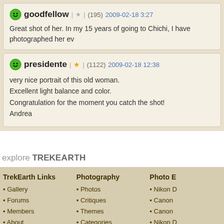goodfellow | ★ | (195) 2009-02-18 3:27
Great shot of her. In my 15 years of going to Chichi, I have photographed her ev
presidente | ★ | (1122) 2009-02-18 12:38
very nice portrait of this old woman.
Excellent light balance and color.
Congratulation for the moment you catch the shot!
Andrea
explore TREKEARTH
TrekEarth Links
• Gallery
• Forums
• Members
• About
• RSS Feeds
Photography
• Photos
• Critiques
• Themes
• Categories
• Workshops
Photo E
• Nikon D
• Canon
• Canon
• Nikon D
• Panase